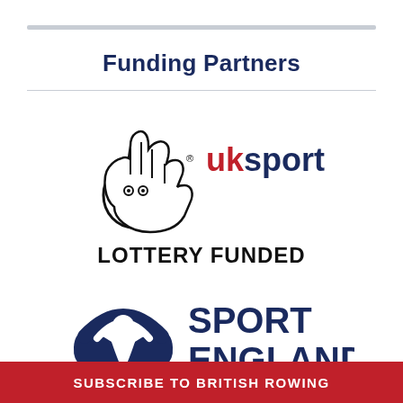Funding Partners
[Figure (logo): UK Sport Lottery Funded logo — crossed fingers hand symbol with 'uk sport' text (uk in red, sport in dark blue) and 'LOTTERY FUNDED' in bold black text below]
[Figure (logo): Sport England logo — dark blue stylised plant/person icon with 'SPORT ENGLAND' in bold dark blue text to the right]
SUBSCRIBE TO BRITISH ROWING